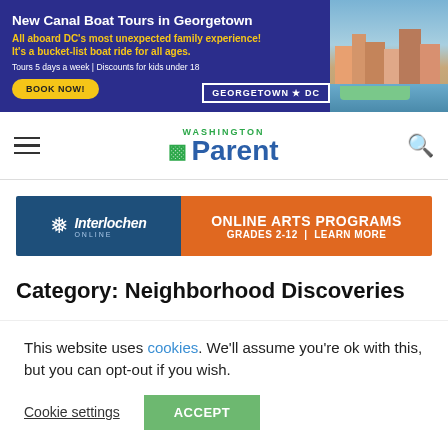[Figure (infographic): Advertisement banner for Georgetown Canal Boat Tours with dark blue background, yellow and white text, and a photo of colorful Georgetown waterfront buildings and a boat. Shows 'New Canal Boat Tours in Georgetown', tagline, BOOK NOW button, and Georgetown DC badge.]
Washington Parent
[Figure (infographic): Advertisement banner for Interlochen Online showing dark blue left panel with Interlochen Online logo and orange right panel reading 'ONLINE ARTS PROGRAMS / GRADES 2-12 | LEARN MORE']
Category: Neighborhood Discoveries
This website uses cookies. We'll assume you're ok with this, but you can opt-out if you wish.
Cookie settings   ACCEPT